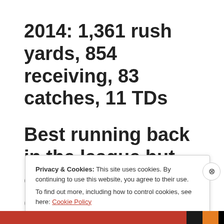2014: 1,361 rush yards, 854 receiving, 83 catches, 11 TDs
Best running back in the league but out for the first 2 games due to suspension. Worth picking if
Privacy & Cookies: This site uses cookies. By continuing to use this website, you agree to their use.
To find out more, including how to control cookies, see here: Cookie Policy
Close and accept